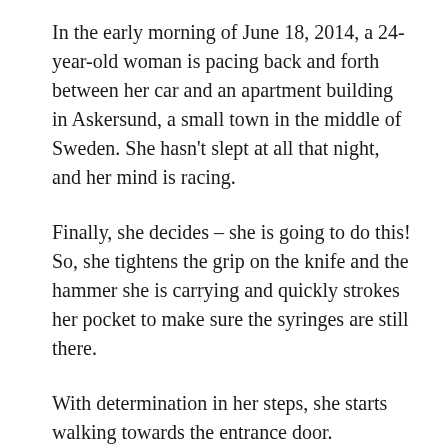In the early morning of June 18, 2014, a 24-year-old woman is pacing back and forth between her car and an apartment building in Askersund, a small town in the middle of Sweden. She hasn't slept at all that night, and her mind is racing.
Finally, she decides – she is going to do this! So, she tightens the grip on the knife and the hammer she is carrying and quickly strokes her pocket to make sure the syringes are still there.
With determination in her steps, she starts walking towards the entrance door.
E-mail